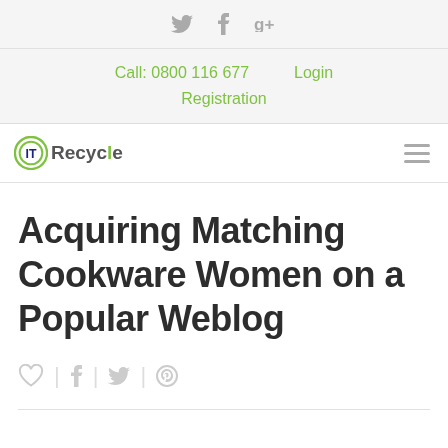Twitter  Facebook  Google+
Call: 0800 116 677   Login   Registration
[Figure (logo): IT Recycle logo with green circular icon and text 'IT Recycle' with hamburger menu icon on the right]
Acquiring Matching Cookware Women on a Popular Weblog
[Figure (infographic): Post social sharing icons: heart, facebook, twitter, pinterest]